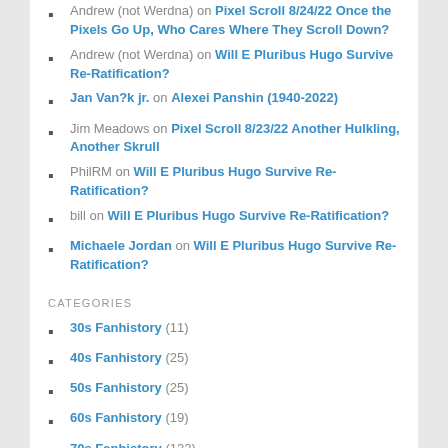Andrew (not Werdna) on Pixel Scroll 8/24/22 Once the Pixels Go Up, Who Cares Where They Scroll Down?
Andrew (not Werdna) on Will E Pluribus Hugo Survive Re-Ratification?
Jan Van?k jr. on Alexei Panshin (1940-2022)
Jim Meadows on Pixel Scroll 8/23/22 Another Hulkling, Another Skrull
PhilRM on Will E Pluribus Hugo Survive Re-Ratification?
bill on Will E Pluribus Hugo Survive Re-Ratification?
Michaele Jordan on Will E Pluribus Hugo Survive Re-Ratification?
CATEGORIES
30s Fanhistory (11)
40s Fanhistory (25)
50s Fanhistory (25)
60s Fanhistory (19)
70s Fanhistory (132)